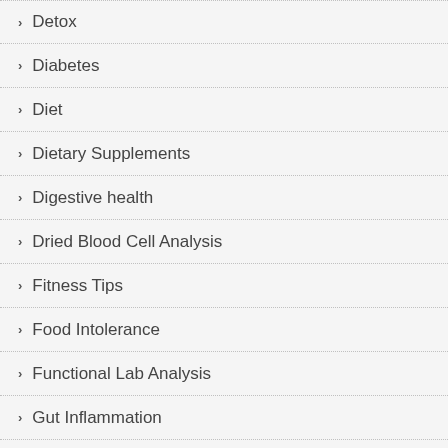Detox
Diabetes
Diet
Dietary Supplements
Digestive health
Dried Blood Cell Analysis
Fitness Tips
Food Intolerance
Functional Lab Analysis
Gut Inflammation
Health tips